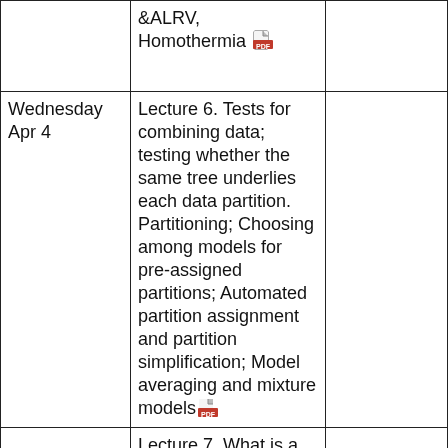| Date | Topic | Details |
| --- | --- | --- |
|  | &ALRV, Homothermia [pdf] |  |
| Wednesday Apr 4 | Lecture 6. Tests for combining data; testing whether the same tree underlies each data partition. Partitioning; Choosing among models for pre-assigned partitions; Automated partition assignment and partition simplification; Model averaging and mixture models [pdf] |  |
|  | Lecture 7. What is a long branch?: |  |